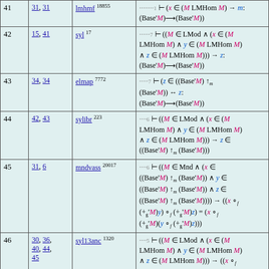| # | Refs | Theorem/Rule | Formula |
| --- | --- | --- | --- |
| 41 | 31, 31 | lmhmf 18855 | ...7 ⊢ ((M ∈ LMHom M) → m: (Base'M)→(Base'M)) |
| 42 | 15, 41 | syl 17 | ......7 ⊢ ((M ∈ LMod ∧ (x ∈ (M LMHom M) ∧ y ∈ (M LMHom M) ∧ z ∈ (M LMHom M))) → z: (Base'M)→(Base'M)) |
| 43 | 34, 34 | elmap 7772 | .....7 ⊢ (z ∈ ((Base'M) ↑m (Base'M)) ↔ z: (Base'M)→(Base'M)) |
| 44 | 42, 43 | sylibr 223 | ....6 ⊢ ((M ∈ LMod ∧ (x ∈ (M LMHom M) ∧ y ∈ (M LMHom M) ∧ z ∈ (M LMHom M))) → z ∈ ((Base'M) ↑m (Base'M))) |
| 45 | 31, 6 | mndvass 20017 | ....6 ⊢ ((M ∈ Mnd ∧ (x ∈ ((Base'M) ↑m (Base'M)) ∧ y ∈ ((Base'M) ↑m (Base'M)) ∧ z ∈ ((Base'M) ↑m (Base'M)))) → ((x ∘f (+g'M)y) ∘f (+g'M)z) = (x ∘f (+g'M)(y ∘f (+g'M)z))) |
| 46 | 30, 36, 40, 44, 45 | syl13anc 1320 | ....5 ⊢ ((M ∈ LMod ∧ (x ∈ (M LMHom M) ∧ y ∈ (M LMHom M) ∧ z ∈ (M LMHom M))) → ((x ∘f (+g'M)y) ∘f (+g'M)z) = (x ∘f (+g'M)(y ∘f (+g'M)z))) |